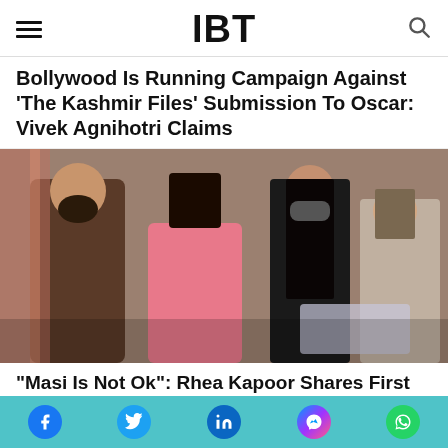IBT
Bollywood Is Running Campaign Against 'The Kashmir Files' Submission To Oscar: Vivek Agnihotri Claims
[Figure (photo): Group of people including a man in brown shirt, a woman in pink outfit, and others wearing face masks]
"Masi Is Not Ok": Rhea Kapoor Shares First Photos Of...
Social share bar with Facebook, Twitter, LinkedIn, Messenger, WhatsApp icons